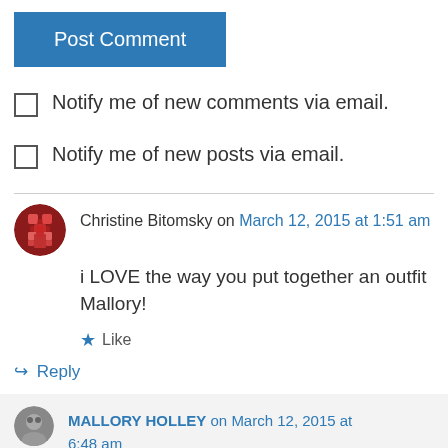[Figure (other): Blue 'Post Comment' button]
Notify me of new comments via email.
Notify me of new posts via email.
Christine Bitomsky on March 12, 2015 at 1:51 am
i LOVE the way you put together an outfit Mallory!
Like
Reply
MALLORY HOLLEY on March 12, 2015 at 6:48 am